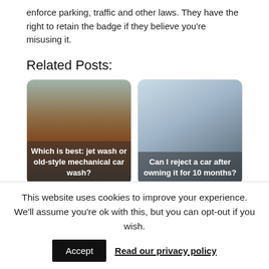enforce parking, traffic and other laws. They have the right to retain the badge if they believe you're misusing it.
Related Posts:
[Figure (photo): Card with car being washed under a tent structure, with caption 'Which is best: jet wash or old-style mechanical car wash?']
[Figure (photo): Card with a hand holding car keys, with caption 'Can I reject a car after owning it for 10 months?']
[Figure (photo): Bottom-left card showing partial view of a building and car]
[Figure (photo): Bottom-right card showing partial view of a car]
This website uses cookies to improve your experience. We'll assume you're ok with this, but you can opt-out if you wish.
Accept   Read our privacy policy